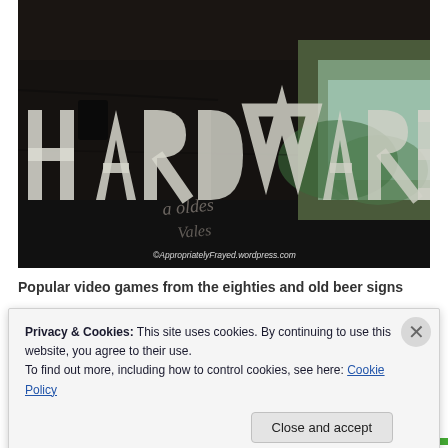[Figure (photo): Photograph of a hardware store window or sign with large white letters spelling 'HARDWARE' reflected/seen through glass. Dark background with reflections of trees and outdoor elements. Watermark reads '©AppropriatelyFrayed.wordpress.com' in bottom right corner.]
Popular video games from the eighties and old beer signs...
Privacy & Cookies: This site uses cookies. By continuing to use this website, you agree to their use.
To find out more, including how to control cookies, see here: Cookie Policy